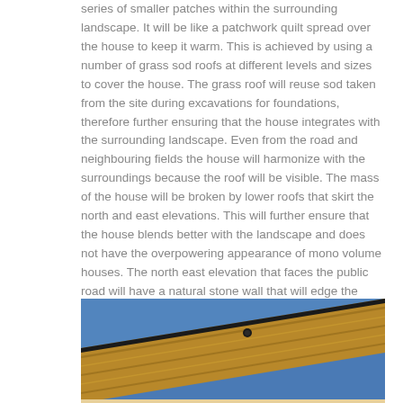series of smaller patches within the surrounding landscape. It will be like a patchwork quilt spread over the house to keep it warm. This is achieved by using a number of grass sod roofs at different levels and sizes to cover the house. The grass roof will reuse sod taken from the site during excavations for foundations, therefore further ensuring that the house integrates with the surrounding landscape. Even from the road and neighbouring fields the house will harmonize with the surroundings because the roof will be visible. The mass of the house will be broken by lower roofs that skirt the north and east elevations. This will further ensure that the house blends better with the landscape and does not have the overpowering appearance of mono volume houses. The north east elevation that faces the public road will have a natural stone wall that will edge the driveway and help define the entrance door. The natural stone cladding will be at low level, to express it weight and origin in the ground. On select parts of the elevation timber cladding is use to express elements of the building, like the entrance door and central hallway on the north east elevation.
[Figure (photo): Close-up photograph of a timber-clad building eave or overhang with horizontal wood cladding boards against a bright blue sky. A small dark circular bolt or fixing is visible on the timber surface.]